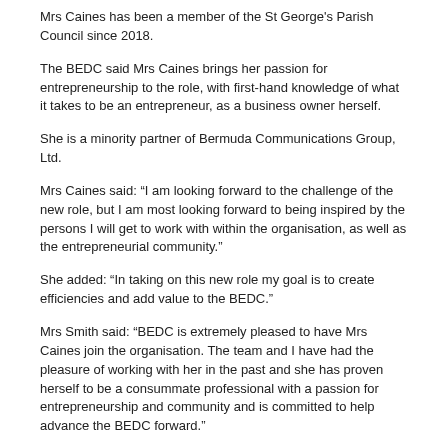Mrs Caines has been a member of the St George's Parish Council since 2018.
The BEDC said Mrs Caines brings her passion for entrepreneurship to the role, with first-hand knowledge of what it takes to be an entrepreneur, as a business owner herself.
She is a minority partner of Bermuda Communications Group, Ltd.
Mrs Caines said: “I am looking forward to the challenge of the new role, but I am most looking forward to being inspired by the persons I will get to work with within the organisation, as well as the entrepreneurial community.”
She added: “In taking on this new role my goal is to create efficiencies and add value to the BEDC.”
Mrs Smith said: “BEDC is extremely pleased to have Mrs Caines join the organisation. The team and I have had the pleasure of working with her in the past and she has proven herself to be a consummate professional with a passion for entrepreneurship and community and is committed to help advance the BEDC forward.”